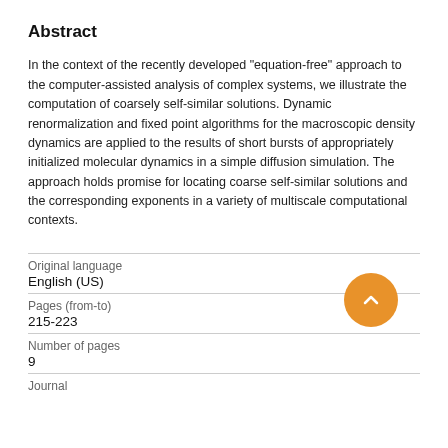Abstract
In the context of the recently developed "equation-free" approach to the computer-assisted analysis of complex systems, we illustrate the computation of coarsely self-similar solutions. Dynamic renormalization and fixed point algorithms for the macroscopic density dynamics are applied to the results of short bursts of appropriately initialized molecular dynamics in a simple diffusion simulation. The approach holds promise for locating coarse self-similar solutions and the corresponding exponents in a variety of multiscale computational contexts.
| Original language | English (US) |
| Pages (from-to) | 215-223 |
| Number of pages | 9 |
| Journal |  |